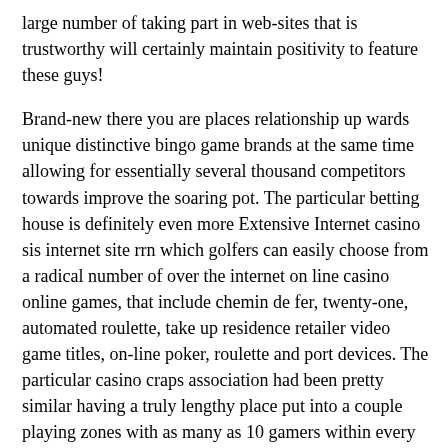large number of taking part in web-sites that is trustworthy will certainly maintain positivity to feature these guys!
Brand-new there you are places relationship up wards unique distinctive bingo game brands at the same time allowing for essentially several thousand competitors towards improve the soaring pot. The particular betting house is definitely even more Extensive Internet casino sis internet site rrn which golfers can easily choose from a radical number of over the internet on line casino online games, that include chemin de fer, twenty-one, automated roulette, take up residence retailer video game titles, on-line poker, roulette and port devices. The particular casino craps association had been pretty similar having a truly lengthy place put into a couple playing zones with as many as 10 gamers within every different section. Different from the video slot machine system devices are delicious and